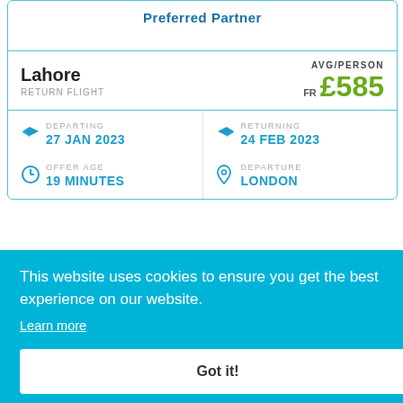Preferred Partner
Lahore
RETURN FLIGHT
AVG/PERSON
FR £585
DEPARTING
27 JAN 2023
RETURNING
24 FEB 2023
OFFER AGE
19 MINUTES
DEPARTURE
LONDON
This website uses cookies to ensure you get the best experience on our website.
Learn more
Got it!
AIRWAYS